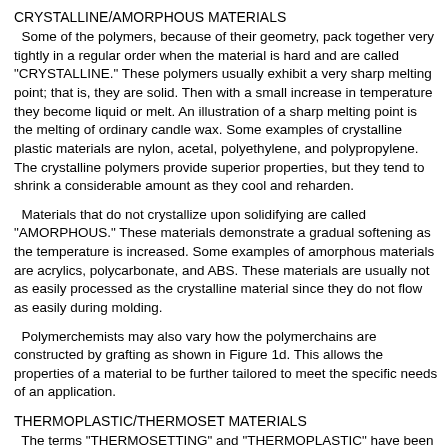CRYSTALLINE/AMORPHOUS MATERIALS
Some of the polymers, because of their geometry, pack together very tightly in a regular order when the material is hard and are called "CRYSTALLINE." These polymers usually exhibit a very sharp melting point; that is, they are solid. Then with a small increase in temperature they become liquid or melt. An illustration of a sharp melting point is the melting of ordinary candle wax. Some examples of crystalline plastic materials are nylon, acetal, polyethylene, and polypropylene. The crystalline polymers provide superior properties, but they tend to shrink a considerable amount as they cool and reharden.
Materials that do not crystallize upon solidifying are called "AMORPHOUS." These materials demonstrate a gradual softening as the temperature is increased. Some examples of amorphous materials are acrylics, polycarbonate, and ABS. These materials are usually not as easily processed as the crystalline material since they do not flow as easily during molding.
Polymerchemists may also vary how the polymerchains are constructed by grafting as shown in Figure 1d. This allows the properties of a material to be further tailored to meet the specific needs of an application.
THERMOPLASTIC/THERMOSET MATERIALS
The terms "THERMOSETTING" and "THERMOPLASTIC" have been traditionally used to describe the different types of plastic